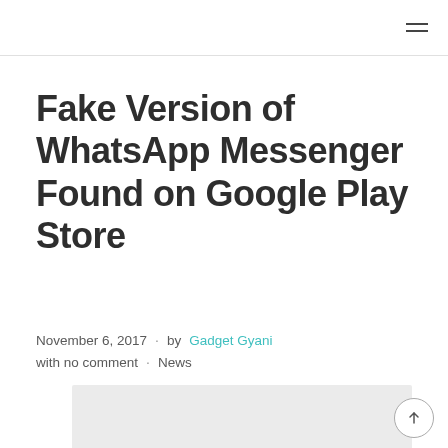Fake Version of WhatsApp Messenger Found on Google Play Store
November 6, 2017 · by Gadget Gyani with no comment · News
[Figure (photo): Gray image placeholder for article thumbnail]